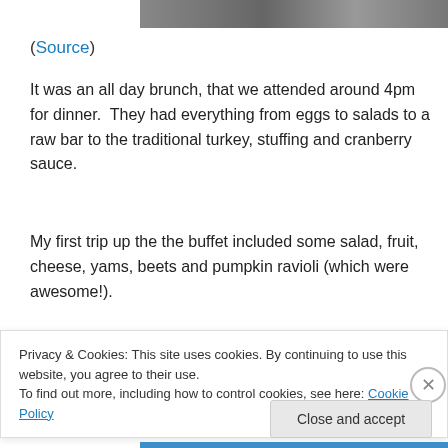[Figure (photo): Partial view of a photograph at top of page]
(Source)
It was an all day brunch, that we attended around 4pm for dinner.  They had everything from eggs to salads to a raw bar to the traditional turkey, stuffing and cranberry sauce.
My first trip up the the buffet included some salad, fruit, cheese, yams, beets and pumpkin ravioli (which were awesome!).
[Figure (photo): Partial view of a dark photograph at bottom of page]
Privacy & Cookies: This site uses cookies. By continuing to use this website, you agree to their use.
To find out more, including how to control cookies, see here: Cookie Policy
Close and accept